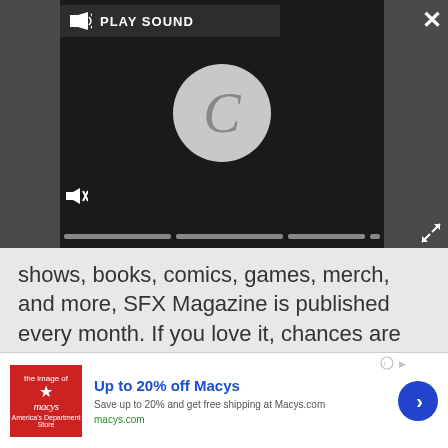[Figure (screenshot): Video player with 'PLAY SOUND' label and loading spinner 'C', with mute button and progress bars]
shows, books, comics, games, merch, and more, SFX Magazine is published every month. If you love it, chances are we do too and you'll find it in SFX.
MORE ABOUT...
LATEST
[Figure (photo): Photo of person wearing headphones]
[Figure (photo): Photo with orange/yellow dotted pattern and microphone]
[Figure (other): Advertisement: Up to 20% off Macys. Save up to 20% and get free shipping at Macys.com. macys.com]